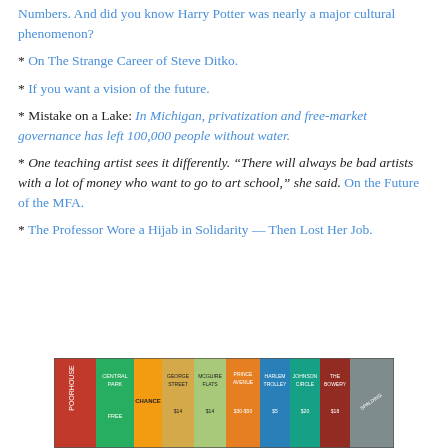Numbers. And did you know Harry Potter was nearly a major cultural phenomenon?
* On The Strange Career of Steve Ditko.
* If you want a vision of the future.
* Mistake on a Lake: In Michigan, privatization and free-market governance has left 100,000 people without water.
* One teaching artist sees it differently. “There will always be bad artists with a lot of money who want to go to art school,” she said. On the Future of the MFA.
* The Professor Wore a Hijab in Solidarity — Then Lost Her Job.
[Figure (photo): Partial view of a colorful vintage board game, possibly a Monopoly-like game, showing game board squares with property names and prices such as Poorhouse, Central Park, Easy Street, Chance, Bowery, etc.]